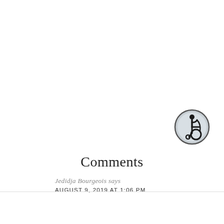[Figure (illustration): Accessibility/wheelchair user icon in a circular badge with dark gray border and light gray background]
Comments
Jedidja Bourgeois says
AUGUST 9, 2019 AT 1:06 PM